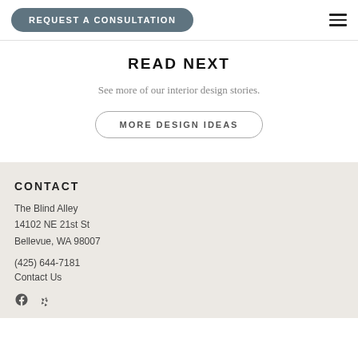REQUEST A CONSULTATION
READ NEXT
See more of our interior design stories.
MORE DESIGN IDEAS
CONTACT
The Blind Alley
14102 NE 21st St
Bellevue, WA 98007
(425) 644-7181
Contact Us
[Figure (other): Social media icons: Facebook and Yelp]